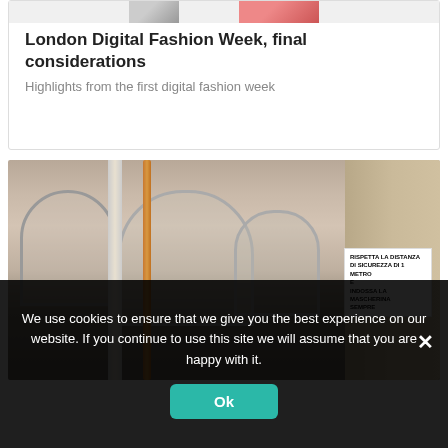[Figure (photo): Partially visible fashion week article card with two image thumbnails at the top (a black and white photo and a pink/red image).]
London Digital Fashion Week, final considerations
Highlights from the first digital fashion week
[Figure (photo): Photograph of a historic Italian building with arched colonnades, a copper downpipe, and a white sign on a pillar reading about social distancing and mask requirements.]
We use cookies to ensure that we give you the best experience on our website. If you continue to use this site we will assume that you are happy with it.